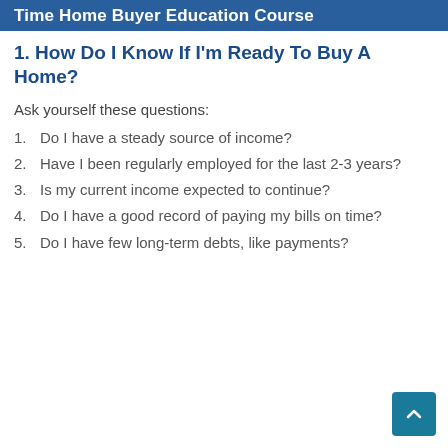Time Home Buyer Education Course
1. How Do I Know If I'm Ready To Buy A Home?
Ask yourself these questions:
Do I have a steady source of income?
Have I been regularly employed for the last 2-3 years?
Is my current income expected to continue?
Do I have a good record of paying my bills on time?
Do I have few long-term debts, like payments?